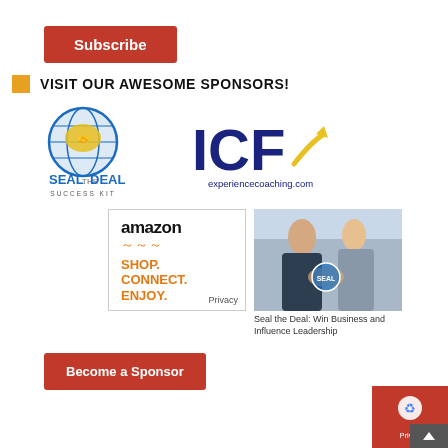[Figure (other): Red Subscribe button]
VISIT OUR AWESOME SPONSORS!
[Figure (logo): Seal the Deal Success Kit logo — globe with handshake, blue and yellow text]
[Figure (logo): ICF experiencecoaching.com logo — dark blue letters ICF with yellow checkmark, URL below]
[Figure (other): Amazon SHOP. CONNECT. ENJOY. ad with Privacy link]
[Figure (photo): Two business people shaking hands with Seal the Deal globe logo overlay]
Seal the Deal: Win Business and Influence Leadership
[Figure (other): Red Become a Sponsor button]
[Figure (other): Privacy badge with reCAPTCHA icon and scroll-up button]